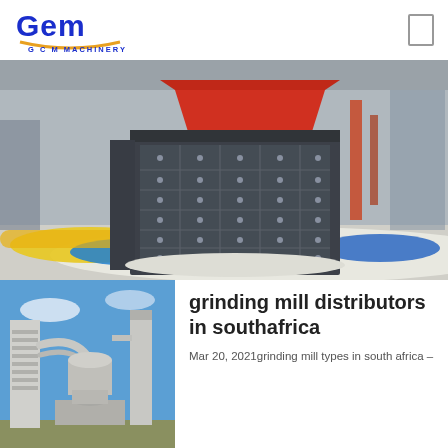[Figure (logo): GCM Machinery logo with blue GEM text and orange underline arc, subtitle 'G C M MACHINERY']
[Figure (photo): Industrial impact crusher machine (dark grey, grid-face panel with bolts, red top hopper) sitting on white crushed stone aggregate in a large factory/exhibition hall with colourful curved slides in background]
[Figure (photo): Industrial grinding mill plant equipment - white cylindrical towers, pipes, and silos against blue sky]
grinding mill distributors in southafrica
Mar 20, 2021grinding mill types in south africa –